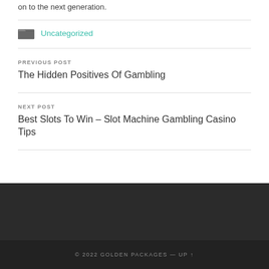on to the next generation.
Uncategorized
PREVIOUS POST
The Hidden Positives Of Gambling
NEXT POST
Best Slots To Win – Slot Machine Gambling Casino Tips
© 2022 GOLDEN PACKAGES — UP ↑